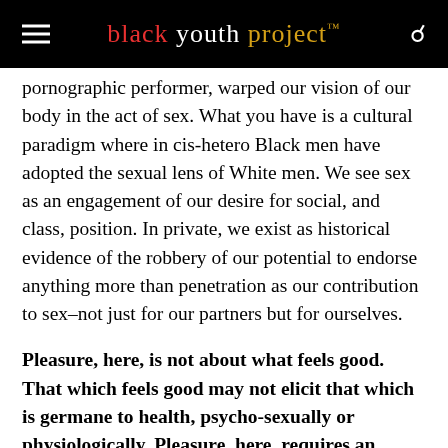black youth project™
pornographic performer, warped our vision of our body in the act of sex. What you have is a cultural paradigm where in cis-hetero Black men have adopted the sexual lens of White men. We see sex as an engagement of our desire for social, and class, position. In private, we exist as historical evidence of the robbery of our potential to endorse anything more than penetration as our contribution to sex–not just for our partners but for ourselves.
Pleasure, here, is not about what feels good. That which feels good may not elicit that which is germane to health, psycho-sexually or physiologically. Pleasure, here, requires an understanding of the body's needs. For us, sex has to mean more than just fucking, cumming and post-coital peacocking.